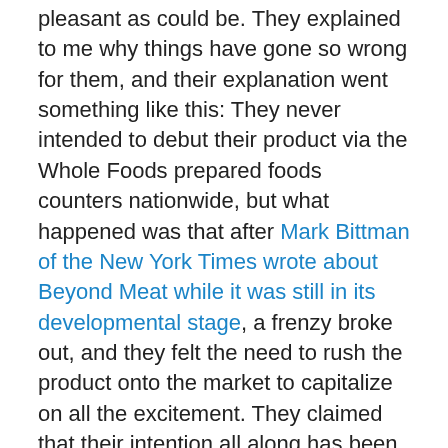pleasant as could be. They explained to me why things have gone so wrong for them, and their explanation went something like this: They never intended to debut their product via the Whole Foods prepared foods counters nationwide, but what happened was that after Mark Bittman of the New York Times wrote about Beyond Meat while it was still in its developmental stage, a frenzy broke out, and they felt the need to rush the product onto the market to capitalize on all the excitement. They claimed that their intention all along has been for the vast majority of their sales to come from the packaged Beyond Meat strips that were only just announced TODAY and still will not be on your grocer's shelves until next month at the earliest. They say they anticipate that the prepared foods will only be a small slice of their business.
Okay, but someone at the company, whether pushed by